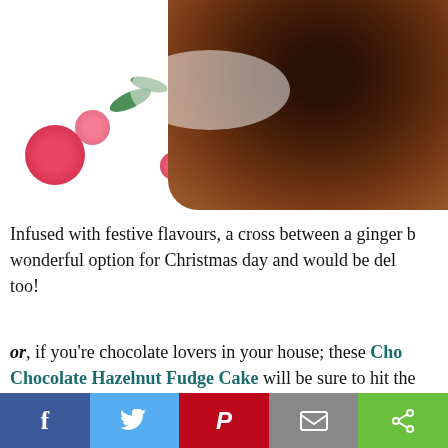[Figure (photo): Top portion of a chocolate cake or gingerbread on a white plate with floral pattern, partially visible from top of page]
Infused with festive flavours, a cross between a ginger b… wonderful option for Christmas day and would be del… too!
or, if you're chocolate lovers in your house; these Cho… Chocolate Hazelnut Fudge Cake will be sure to hit the…
[Figure (photo): Chocolate hazelnut fudge cake topped with chopped nuts, with a halved avocado visible on the right side]
[Figure (infographic): Social sharing bar at bottom with Facebook, Twitter, Pinterest, Email, and Share buttons]